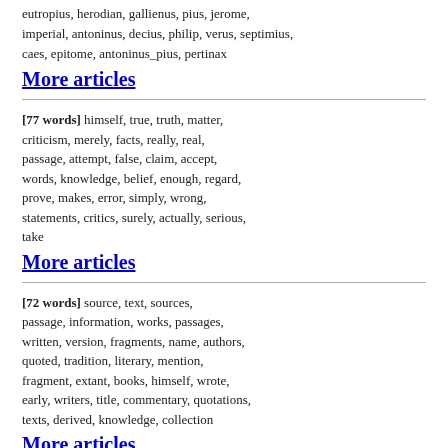eutropius, herodian, gallienus, pius, jerome, imperial, antoninus, decius, philip, verus, septimius, caes, epitome, antoninus_pius, pertinax
More articles
[77 words] himself, true, truth, matter, criticism, merely, facts, really, real, passage, attempt, false, claim, accept, words, knowledge, belief, enough, regard, prove, makes, error, simply, wrong, statements, critics, surely, actually, serious, take
More articles
[72 words] source, text, sources, passage, information, works, passages, written, version, fragments, name, authors, quoted, tradition, literary, mention, fragment, extant, books, himself, wrote, early, writers, title, commentary, quotations, texts, derived, knowledge, collection
More articles
[58 words] context, simply, position, hypothesis, argued, text, makes, claim,